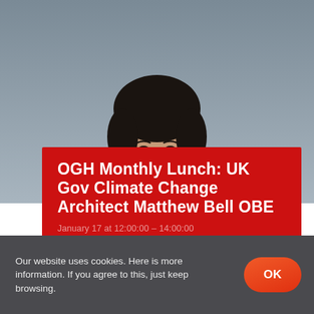[Figure (photo): Portrait photo of a young man with dark hair wearing a dark navy suit and tie, photographed against a grey background, cropped from chest upward.]
OGH Monthly Lunch: UK Gov Climate Change Architect Matthew Bell OBE
January 17 at 12:00:00 – 14:00:00
Our website uses cookies. Here is more information. If you agree to this, just keep browsing.